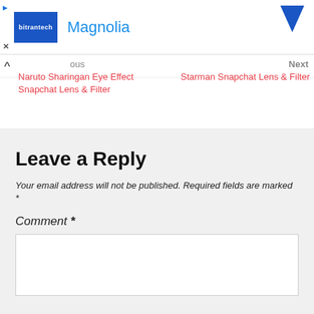[Figure (other): Advertisement banner with blue logo box labeled 'bitrantech', brand name 'Magnolia' in blue, and a blue arrow icon on the right]
▲ Previous
Naruto Sharingan Eye Effect Snapchat Lens & Filter
Next
Starman Snapchat Lens & Filter
Leave a Reply
Your email address will not be published. Required fields are marked *
Comment *